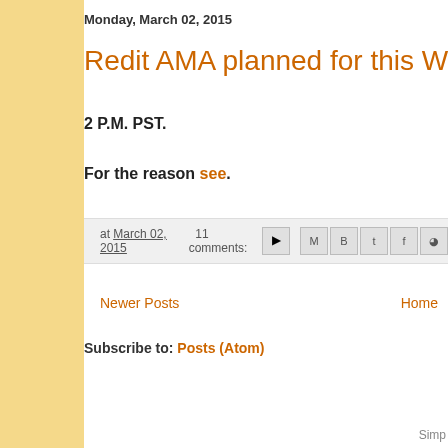Monday, March 02, 2015
Redit AMA planned for this Wednesda…
2 P.M. PST.
For the reason see.
at March 02, 2015   11 comments:
Newer Posts
Home
Subscribe to: Posts (Atom)
Simp